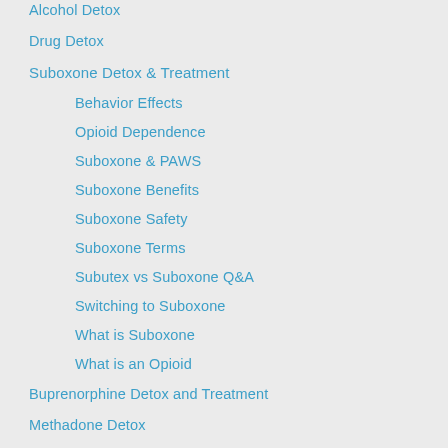Alcohol Detox
Drug Detox
Suboxone Detox & Treatment
Behavior Effects
Opioid Dependence
Suboxone & PAWS
Suboxone Benefits
Suboxone Safety
Suboxone Terms
Subutex vs Suboxone Q&A
Switching to Suboxone
What is Suboxone
What is an Opioid
Buprenorphine Detox and Treatment
Methadone Detox